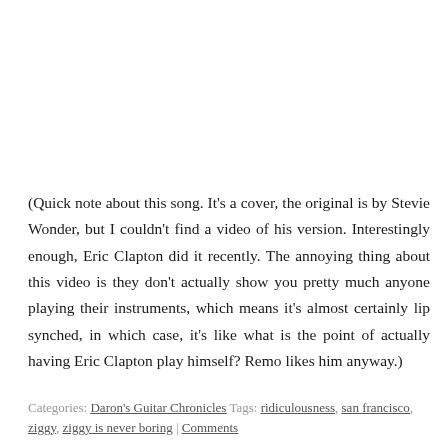(Quick note about this song. It's a cover, the original is by Stevie Wonder, but I couldn't find a video of his version. Interestingly enough, Eric Clapton did it recently. The annoying thing about this video is they don't actually show you pretty much anyone playing their instruments, which means it's almost certainly lip synched, in which case, it's like what is the point of actually having Eric Clapton play himself? Remo likes him anyway.)
Categories: Daron's Guitar Chronicles  Tags: ridiculousness, san francisco, ziggy, ziggy is never boring | Comments